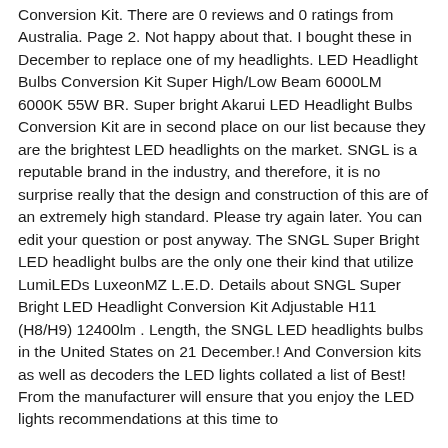Conversion Kit. There are 0 reviews and 0 ratings from Australia. Page 2. Not happy about that. I bought these in December to replace one of my headlights. LED Headlight Bulbs Conversion Kit Super High/Low Beam 6000LM 6000K 55W BR. Super bright Akarui LED Headlight Bulbs Conversion Kit are in second place on our list because they are the brightest LED headlights on the market. SNGL is a reputable brand in the industry, and therefore, it is no surprise really that the design and construction of this are of an extremely high standard. Please try again later. You can edit your question or post anyway. The SNGL Super Bright LED headlight bulbs are the only one their kind that utilize LumiLEDs LuxeonMZ L.E.D. Details about SNGL Super Bright LED Headlight Conversion Kit Adjustable H11 (H8/H9) 12400lm . Length, the SNGL LED headlights bulbs in the United States on 21 December.! And Conversion kits as well as decoders the LED lights collated a list of Best! From the manufacturer will ensure that you enjoy the LED lights recommendations at this time to